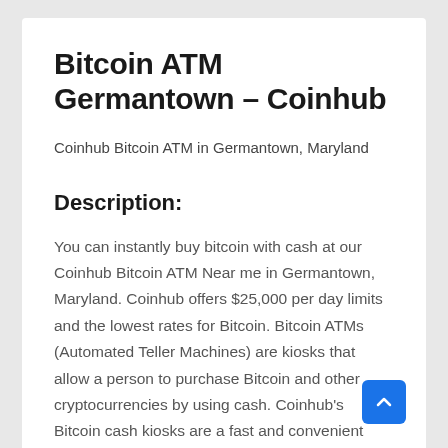Bitcoin ATM Germantown – Coinhub
Coinhub Bitcoin ATM in Germantown, Maryland
Description:
You can instantly buy bitcoin with cash at our Coinhub Bitcoin ATM Near me in Germantown, Maryland. Coinhub offers $25,000 per day limits and the lowest rates for Bitcoin. Bitcoin ATMs (Automated Teller Machines) are kiosks that allow a person to purchase Bitcoin and other cryptocurrencies by using cash. Coinhub's Bitcoin cash kiosks are a fast and convenient way to buy Bitcoin and have it delivered directly to your wallet in minutes. Coinhub Bitcoin